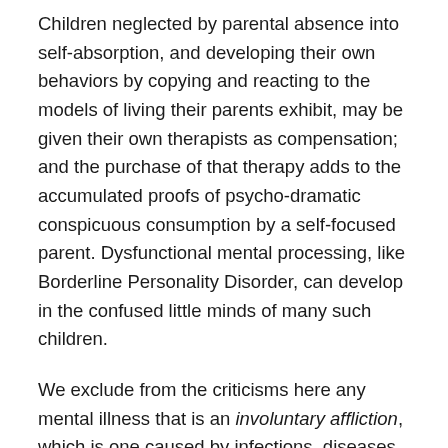Children neglected by parental absence into self-absorption, and developing their own behaviors by copying and reacting to the models of living their parents exhibit, may be given their own therapists as compensation; and the purchase of that therapy adds to the accumulated proofs of psycho-dramatic conspicuous consumption by a self-focused parent. Dysfunctional mental processing, like Borderline Personality Disorder, can develop in the confused little minds of many such children.
We exclude from the criticisms here any mental illness that is an involuntary affliction, which is one caused by infections, diseases and genetic disorders that produce chemical imbalances in the brain, and by physical traumas from any source, which damage or destroy brain tissue. Such brain damage can lead to dysfunctional thinking and